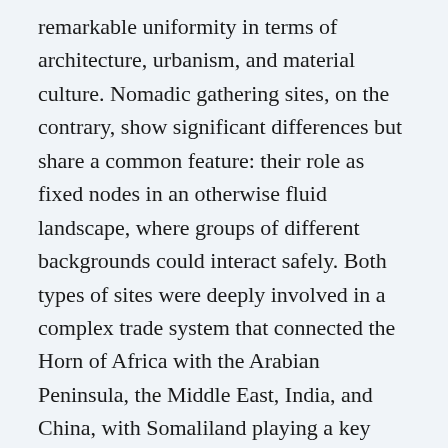remarkable uniformity in terms of architecture, urbanism, and material culture. Nomadic gathering sites, on the contrary, show significant differences but share a common feature: their role as fixed nodes in an otherwise fluid landscape, where groups of different backgrounds could interact safely. Both types of sites were deeply involved in a complex trade system that connected the Horn of Africa with the Arabian Peninsula, the Middle East, India, and China, with Somaliland playing a key role in the import, export, and transport of commodities and goods. Nomads, urban dwellers, and foreign merchants collaborated in the maintenance of this key economic activity that, unlike in other regions of east Africa, did not lead to the emergence of urban centers by